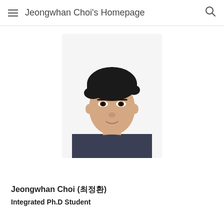Jeongwhan Choi's Homepage
[Figure (photo): Headshot photo of Jeongwhan Choi, a young East Asian male with dark hair wearing a dark blue/grey knit sweater, against a white background.]
Jeongwhan Choi (최정환)
Integrated Ph.D Student